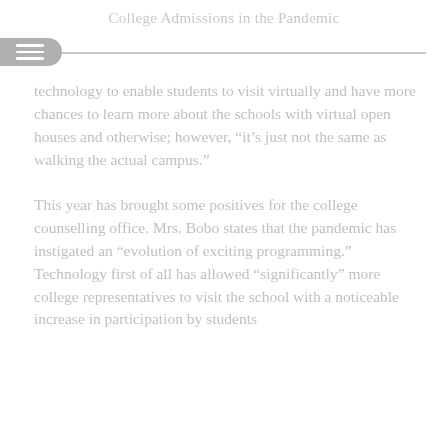College Admissions in the Pandemic
technology to enable students to visit virtually and have more chances to learn more about the schools with virtual open houses and otherwise; however, “it’s just not the same as walking the actual campus.”
This year has brought some positives for the college counselling office. Mrs. Bobo states that the pandemic has instigated an “evolution of exciting programming.” Technology first of all has allowed “significantly” more college representatives to visit the school with a noticeable increase in participation by students